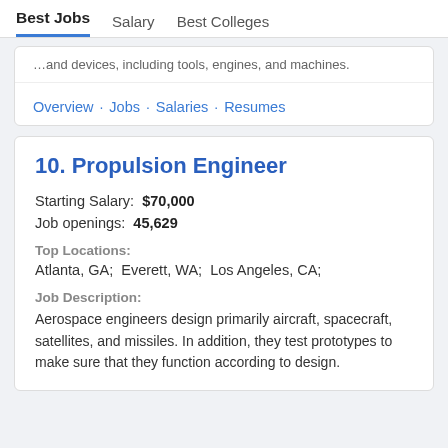Best Jobs  Salary  Best Colleges
…and devices, including tools, engines, and machines.
Overview · Jobs · Salaries · Resumes
10. Propulsion Engineer
Starting Salary: $70,000
Job openings: 45,629
Top Locations:
Atlanta, GA;  Everett, WA;  Los Angeles, CA;
Job Description:
Aerospace engineers design primarily aircraft, spacecraft, satellites, and missiles. In addition, they test prototypes to make sure that they function according to design.